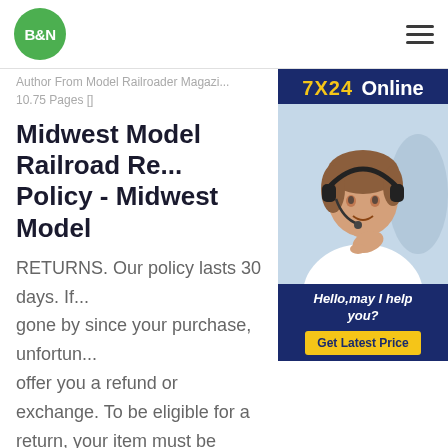[Figure (logo): B&N green circle logo in header]
[Figure (infographic): 7X24 Online customer service ad panel with headset woman photo and Get Latest Price button]
Author From Model Railroader Magazi... 10.75 Pages []
Midwest Model Railroad Re... Policy - Midwest Model
RETURNS. Our policy lasts 30 days. If... gone by since your purchase, unfortun... offer you a refund or exchange. To be eligible for a return, your item must be unused and in the same condition that you received it. It must also be in the original packaging. * Returned items may be subject to a 15% restocking / service fee.Model Railroad